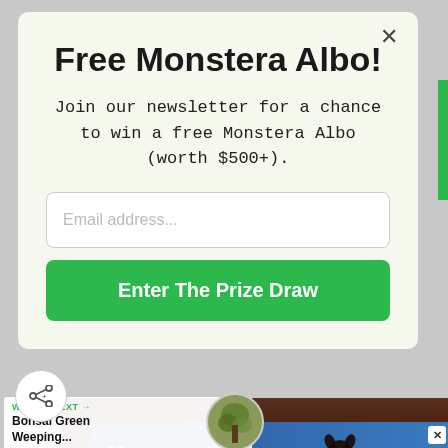Free Monstera Albo!
Join our newsletter for a chance to win a free Monstera Albo (worth $500+).
[Figure (screenshot): Email input field with placeholder text 'Email address...' and a green 'Enter The Prize Draw' button below it]
[Figure (screenshot): Bottom section showing 'WHAT'S NEXT' label with 'Bonsai Green Weeping...' text and thumbnail image, overlaid on a dark wood background strip]
[Figure (screenshot): Advertisement banner with blue background showing 'FALL IN LOVE' text with a dog image]